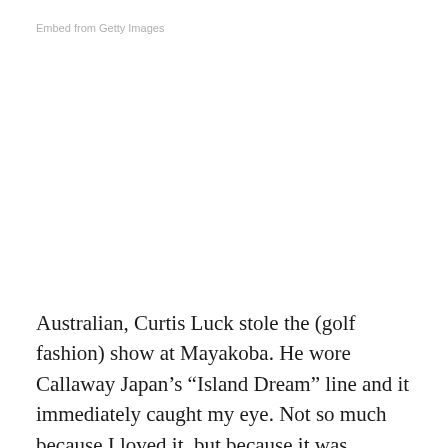Embed from Getty Images
Australian, Curtis Luck stole the (golf fashion) show at Mayakoba. He wore Callaway Japan’s “Island Dream” line and it immediately caught my eye. Not so much because I loved it, but because it was different. In a sea of Nike lately, I have been craving something that would stir up